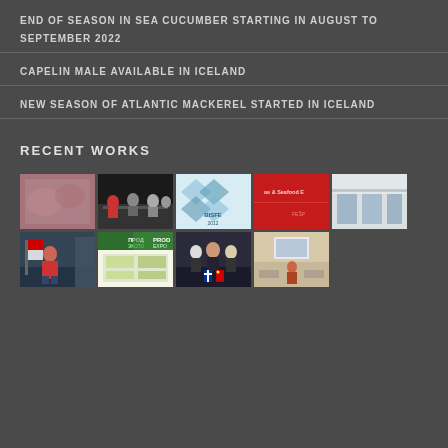END OF SEASON IN SEA CUCUMBER STARTING IN AUGUST TO SEPTEMBER 2022
CAPELIN MALE AVAILABLE IN ICELAND
NEW SEASON OF ATLANTIC MACKEREL STARTED IN ICELAND
RECENT WORKS
[Figure (photo): Grid of 9 photos showing seafood industry events, trade shows including BISFE 2012, PROD EXPO, and various conference/meeting scenes]